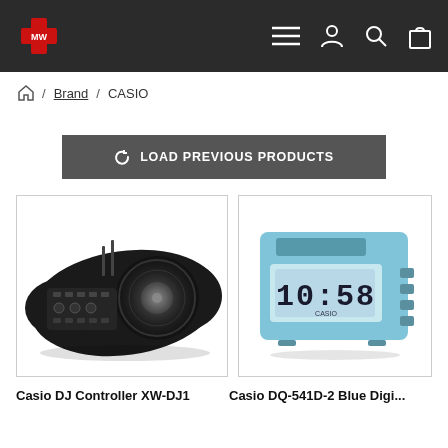CASIO brand page with navigation icons
Home / Brand / CASIO
LOAD PREVIOUS PRODUCTS
[Figure (photo): Casio DJ Controller XW-DJ1 product photo — black turntable-style DJ controller]
[Figure (photo): Casio DQ-541D-2 Blue Digital clock product photo — light blue digital alarm clock displaying 10:58]
Casio DJ Controller XW-DJ1
Casio DQ-541D-2 Blue Digi...